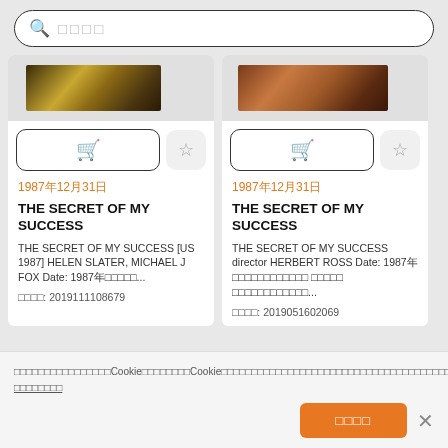[Figure (screenshot): Search bar with magnifying glass icon and placeholder Japanese text]
[Figure (photo): Movie card thumbnail left - dark golden/brown film still]
[Figure (photo): Movie card thumbnail right - brown/copper film still]
1987年12月31日
1987年12月31日
THE SECRET OF MY SUCCESS
THE SECRET OF MY SUCCESS
THE SECRET OF MY SUCCESS [US 1987] HELEN SLATER, MICHAEL J FOX Date: 1987年...
THE SECRET OF MY SUCCESS director HERBERT ROSS Date: 1987年... ...
商品番号: 2019111108679
商品番号: 2019051602069
当サイトでは、利便性及びCookieを使用して、Cookie等を送信し、お客様に最適なサービスや広告の提供及びアクセス解析を行います。引き続き当サイトを閲覧するにはCookieの使用に同意いただいたものとみなします。 プライバシーポリシー